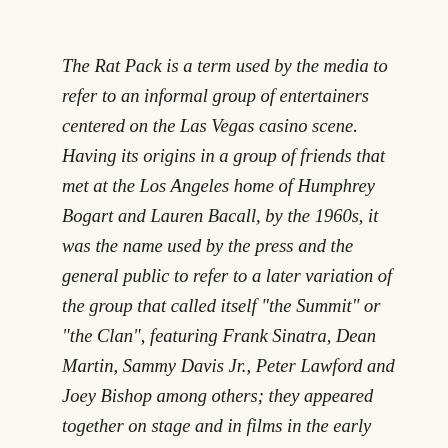The Rat Pack is a term used by the media to refer to an informal group of entertainers centered on the Las Vegas casino scene.  Having its origins in a group of friends that met at the Los Angeles home of Humphrey Bogart and Lauren Bacall, by the 1960s, it was the name used by the press and the general public to refer to a later variation of the group that called itself "the Summit" or "the Clan", featuring Frank Sinatra, Dean Martin, Sammy Davis Jr., Peter Lawford and Joey Bishop among others; they appeared together on stage and in films in the early 1960s.  Sinatra, Martin, and Davis were regarded as the group's lead